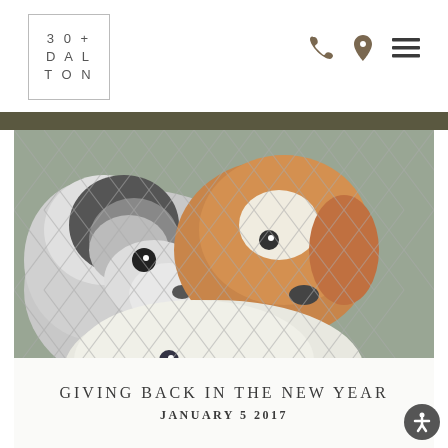30+ DALTON
[Figure (photo): Three dogs looking through a chain-link fence at a shelter]
GIVING BACK IN THE NEW YEAR
JANUARY 5 2017